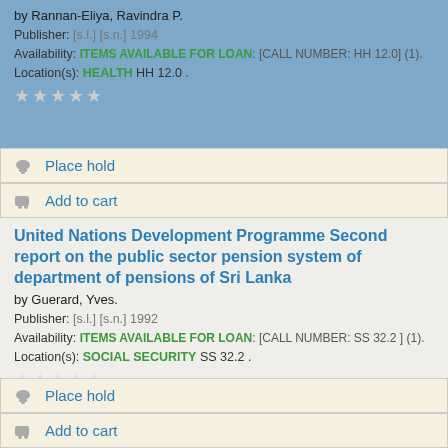by Rannan-Eliya, Ravindra P.
Publisher: [s.l.] [s.n.] 1994
Availability: ITEMS AVAILABLE FOR LOAN: [CALL NUMBER: HH 12.0] (1).
Location(s): HEALTH HH 12.0 .
Place hold
Add to cart
United Nations Development Programme Second report on the public sector pension system of department of pensions of Sri Lanka
by Guerard, Yves.
Publisher: [s.l.] [s.n.] 1992
Availability: ITEMS AVAILABLE FOR LOAN: [CALL NUMBER: SS 32.2 ] (1).
Location(s): SOCIAL SECURITY SS 32.2 .
Place hold
Add to cart